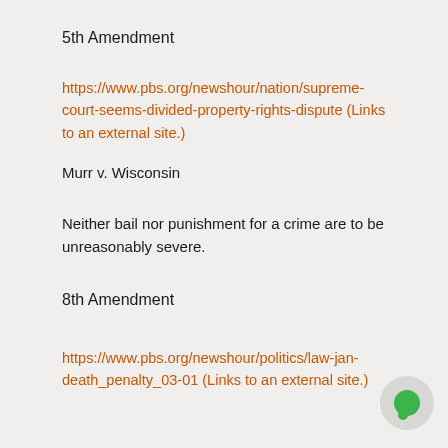5th Amendment
https://www.pbs.org/newshour/nation/supreme-court-seems-divided-property-rights-dispute (Links to an external site.)
Murr v. Wisconsin
Neither bail nor punishment for a crime are to be unreasonably severe.
8th Amendment
https://www.pbs.org/newshour/politics/law-jan-death_penalty_03-01 (Links to an external site.)